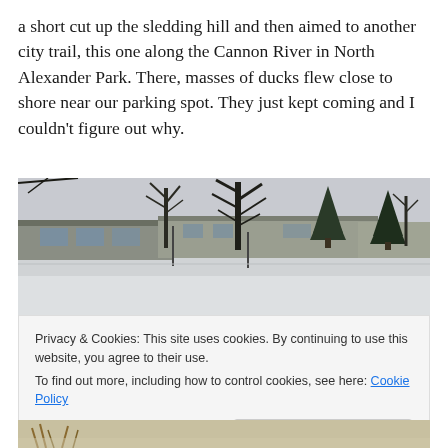a short cut up the sledding hill and then aimed to another city trail, this one along the Cannon River in North Alexander Park. There, masses of ducks flew close to shore near our parking spot. They just kept coming and I couldn't figure out why.
[Figure (photo): Winter landscape photo showing a snowy field with bare trees and a low building in the background, and a frozen or snow-covered area in the foreground.]
Privacy & Cookies: This site uses cookies. By continuing to use this website, you agree to their use.
To find out more, including how to control cookies, see here: Cookie Policy
Close and accept